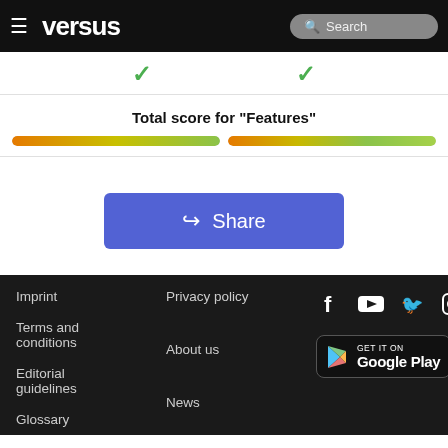versus — Search
[Figure (infographic): Two green checkmarks side by side indicating features comparison]
Total score for "Features"
[Figure (infographic): Two horizontal progress bars gradient from orange to yellow-green, representing feature scores]
[Figure (infographic): Share button with share icon]
Imprint | Terms and conditions | Editorial guidelines | Glossary | Privacy policy | About us | News | Facebook | YouTube | Twitter | Instagram | Get it on Google Play